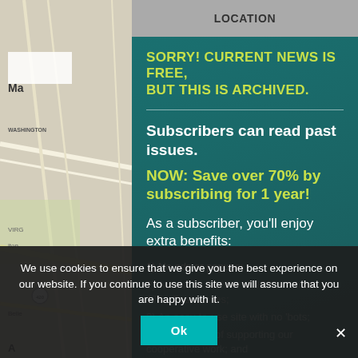[Figure (screenshot): Background showing a map with roads and labels including WASHINGTON, VIRGINIA, Bel..., road markers, and a partially visible grey website interface.]
SORRY! CURRENT NEWS IS FREE, BUT THIS IS ARCHIVED.
Subscribers can read past issues.
NOW: Save over 70% by subscribing for 1 year!
As a subscriber, you’ll enjoy extra benefits:
1) No ads or popups;
2) Access to Archive of 9500+ articles in 175+ Past Issues;
3) An easy-to-use site with no 'bots;
4) Satisfaction of supporting our cooperative work; and
5) Email notification of new issues (2X/month). And More!
We use cookies to ensure that we give you the best experience on our website. If you continue to use this site we will assume that you are happy with it.